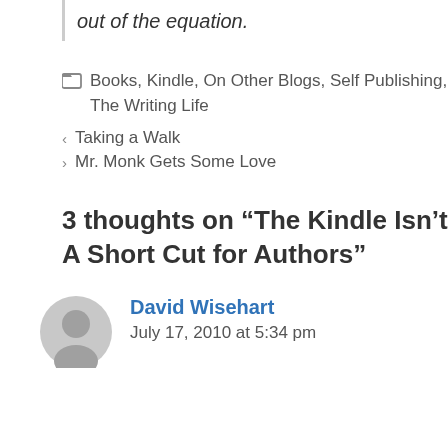out of the equation.
Books, Kindle, On Other Blogs, Self Publishing, The Writing Life
Taking a Walk
Mr. Monk Gets Some Love
3 thoughts on “The Kindle Isn’t A Short Cut for Authors”
David Wisehart
July 17, 2010 at 5:34 pm